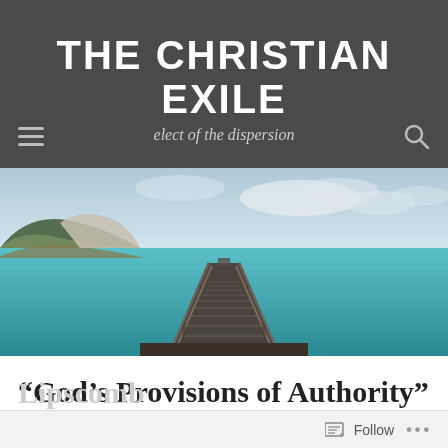THE CHRISTIAN EXILE
elect of the dispersion
[Figure (photo): A long wooden pier or railway track extending over calm turquoise/teal water toward the horizon, with white cliffs and green hills on the left side and a cloudy sky above.]
“God’s Provisions of Authority” by David Lipscomb